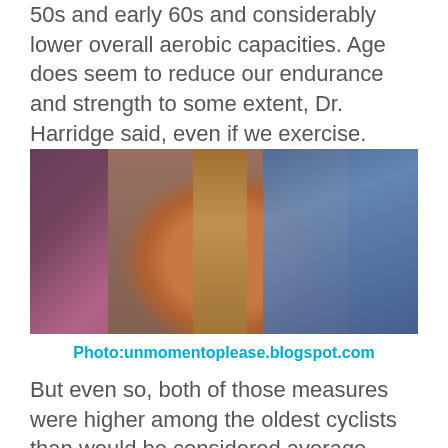50s and early 60s and considerably lower overall aerobic capacities. Age does seem to reduce our endurance and strength to some extent, Dr. Harridge said, even if we exercise.
[Figure (photo): Close-up photograph of an elderly person's wrinkled hands gripping a wooden walking cane, wearing a blue knit sweater. Background shows blurred indoor setting with pink chair.]
Photo:unmomentoplease.blogspot.com
But even so, both of those measures were higher among the oldest cyclists than would be considered average among people aged 70